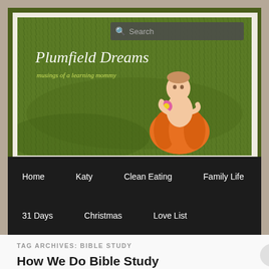[Figure (photo): Plumfield Dreams blog header banner showing a baby sitting on a pumpkin in a grassy field. Blog title 'Plumfield Dreams - musings of a learning mommy' overlaid on left side. Search box overlaid on top right.]
Home  Katy  Clean Eating  Family Life  31 Days  Christmas  Love List
TAG ARCHIVES: BIBLE STUDY
How We Do Bible Study
Posted on September 26, 2013